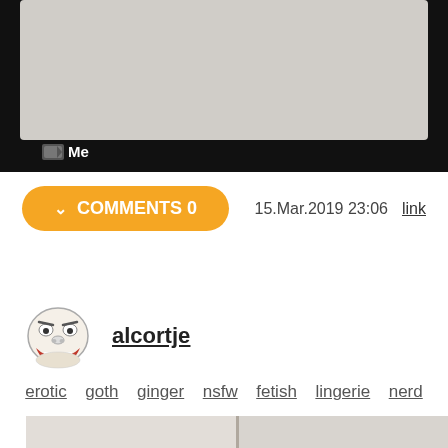[Figure (screenshot): Top portion of a tablet/phone device with black bezel and a gray screen area, with a 'Me' label icon at the bottom left of the device]
COMMENTS 0   15.Mar.2019 23:06   link
[Figure (illustration): Troll face meme avatar icon]
alcortje
erotic   goth   ginger   nsfw   fetish   lingerie   nerd
[Figure (photo): Partial bottom photo, light beige/white background with vertical panel/crease line visible]